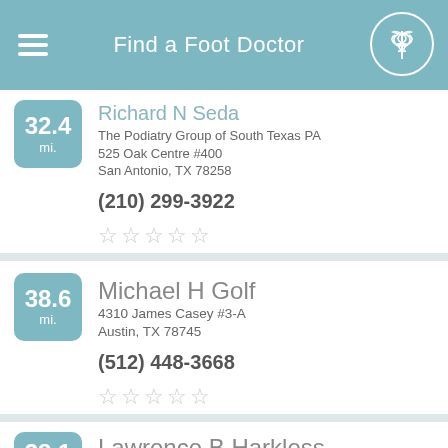Find a Foot Doctor
Richard N Seda | The Podiatry Group of South Texas PA | 525 Oak Centre #400 | San Antonio, TX 78258 | (210) 299-3922 | Distance: 32.4 mi.
Michael H Golf | 4310 James Casey #3-A | Austin, TX 78745 | (512) 448-3668 | Distance: 38.6 mi.
Lawrence B Harkless | 7703 Floyd Curl Dr | Distance: 38.1 mi.